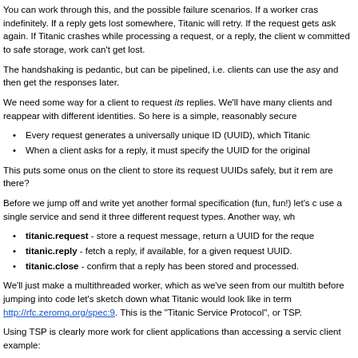You can work through this, and the possible failure scenarios. If a worker crashes indefinitely. If a reply gets lost somewhere, Titanic will retry. If the request gets ask again. If Titanic crashes while processing a request, or a reply, the client w committed to safe storage, work can't get lost.
The handshaking is pedantic, but can be pipelined, i.e. clients can use the asy and then get the responses later.
We need some way for a client to request its replies. We'll have many clients and reappear with different identities. So here is a simple, reasonably secure
Every request generates a universally unique ID (UUID), which Titanic
When a client asks for a reply, it must specify the UUID for the original
This puts some onus on the client to store its request UUIDs safely, but it rem are there?
Before we jump off and write yet another formal specification (fun, fun!) let's c use a single service and send it three different request types. Another way, wh
titanic.request - store a request message, return a UUID for the reque
titanic.reply - fetch a reply, if available, for a given request UUID.
titanic.close - confirm that a reply has been stored and processed.
We'll just make a multithreaded worker, which as we've seen from our multith before jumping into code let's sketch down what Titanic would look like in term http://rfc.zeromq.org/spec:9. This is the "Titanic Service Protocol", or TSP.
Using TSP is clearly more work for client applications than accessing a servic client example: